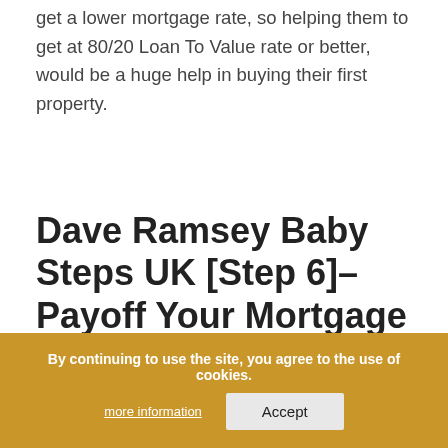have a larger deposit on a house they will get a lower mortgage rate, so helping them to get at 80/20 Loan To Value rate or better, would be a huge help in buying their first property.
Dave Ramsey Baby Steps UK [Step 6]– Payoff Your Mortgage Early
This baby step from Dave Ramsey works exactly the same in the UK. The steps to